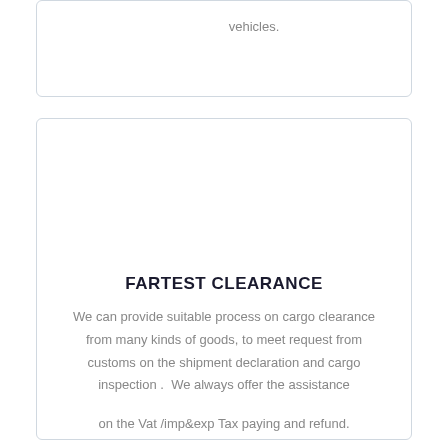vehicles.
FARTEST CLEARANCE
We can provide suitable process on cargo clearance from many kinds of goods, to meet request from customs on the shipment declaration and cargo inspection .  We always offer the assistance

on the Vat /imp&exp Tax paying and refund.